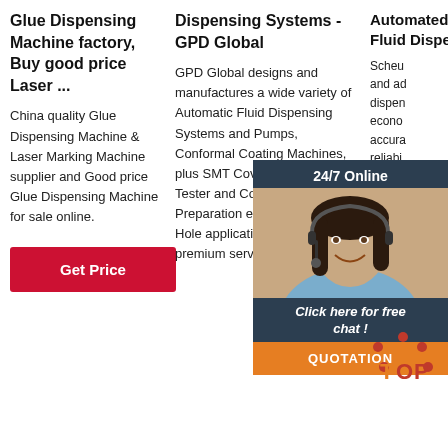Glue Dispensing Machine factory, Buy good price Laser ...
China quality Glue Dispensing Machine & Laser Marking Machine supplier and Good price Glue Dispensing Machine for sale online.
Dispensing Systems - GPD Global
GPD Global designs and manufactures a wide variety of Automatic Fluid Dispensing Systems and Pumps, Conformal Coating Machines, plus SMT Cover Tape Peel Tester and Component Preparation equipment for Thru-Hole applications. We offer premium service
Automated Precision Fluid Dispe...
Scheu... and ad... dispen... econo... accura... reliabi... the ma... industr... depend... the right dispensers. Since adhesive bonding or potting usually take place towards the end of
[Figure (photo): Customer service representative woman wearing a headset, with a dark blue overlay chat widget showing '24/7 Online', 'Click here for free chat!', and an orange 'QUOTATION' button]
[Figure (logo): Orange and red 'TOP' logo icon in bottom right area]